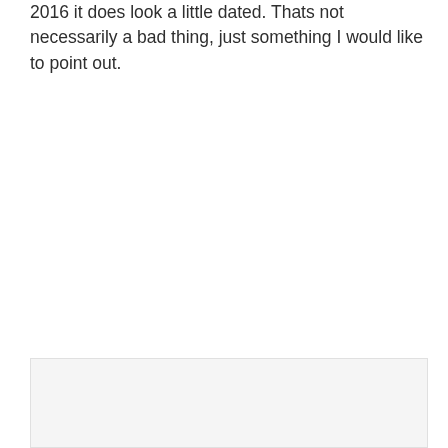2016 it does look a little dated. Thats not necessarily a bad thing, just something I would like to point out.
[Figure (other): Partially visible image or content block at the bottom of the page, showing a light gray/white rectangular area with a thin border.]